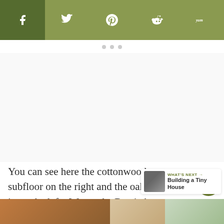Social share bar: Facebook, Twitter, Pinterest, Reddit, Yummly
You can see here the cottonwood subfloor on the right and the oak going in on the left.  We used a Bostitch Manual Flooring Nailer that we borrowed from our neighbors.
WHAT'S NEXT → Building a Tiny House
[Figure (photo): Bottom strip showing construction/house photos]